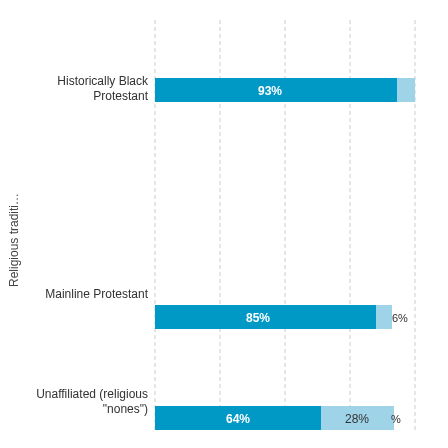[Figure (stacked-bar-chart): Religious tradition by affiliation]